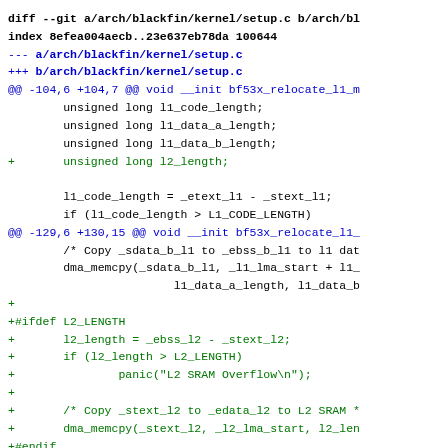[Figure (other): Git diff output showing changes to arch/blackfin/kernel/setup.c, adding l2_length variable declaration and L2 SRAM memory copy code block with #ifdef L2_LENGTH guard]